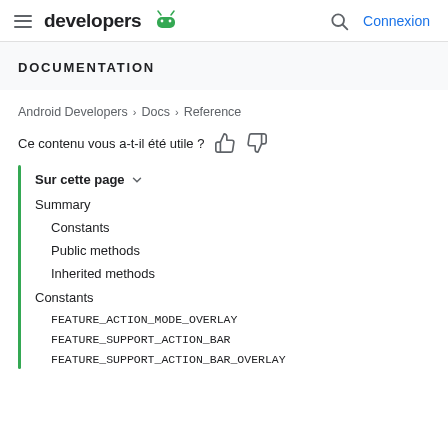developers | Connexion
DOCUMENTATION
Android Developers > Docs > Reference
Ce contenu vous a-t-il été utile ?
Sur cette page
Summary
Constants
Public methods
Inherited methods
Constants
FEATURE_ACTION_MODE_OVERLAY
FEATURE_SUPPORT_ACTION_BAR
FEATURE_SUPPORT_ACTION_BAR_OVERLAY